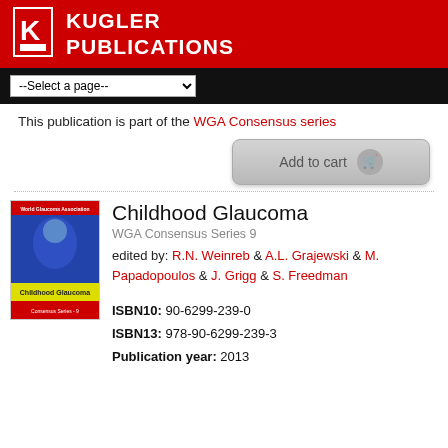[Figure (logo): Kugler Publications logo - white K on red background with white square border]
KUGLER PUBLICATIONS
This publication is part of the WGA Consensus series
[Figure (other): Add to cart button]
[Figure (photo): Book cover of Childhood Glaucoma with a face image]
Childhood Glaucoma
WGA Consensus Series 9
edited by: R.N. Weinreb & A.L. Grajewski & M. Papadopoulos & J. Grigg & S. Freedman
ISBN10: 90-6299-239-0
ISBN13: 978-90-6299-239-3
Publication year: 2013